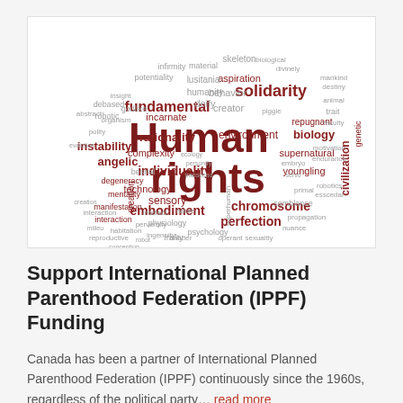[Figure (infographic): Word cloud related to human rights themes. Dominant words in dark red: 'Human rights', 'fundamental', 'solidarity', 'individuality', 'embodiment', 'chromosome', 'perfection', 'environment', 'civilization', 'rationality', 'complexity', 'technology', 'sensory', 'creation', 'instability', 'angelic', 'incarnate', 'degeneracy', 'mentality', 'manifestation', 'interaction', 'physiology', 'frailty', 'intellect', 'idealize', 'psychology', 'supernatural', 'youngling', 'repugnant', 'biology', 'innate', 'aspiration', 'behavior', 'creator', 'deify', 'humanity', 'lusitania', 'godlike', 'ingenuity', 'perversity', 'sexuality', 'semblance', 'nuance', 'operant', 'endurance', 'robotics', 'motivation', 'genetic', 'trait', and many smaller gray words.]
Support International Planned Parenthood Federation (IPPF) Funding
Canada has been a partner of International Planned Parenthood Federation (IPPF) continuously since the 1960s, regardless of the political party… read more